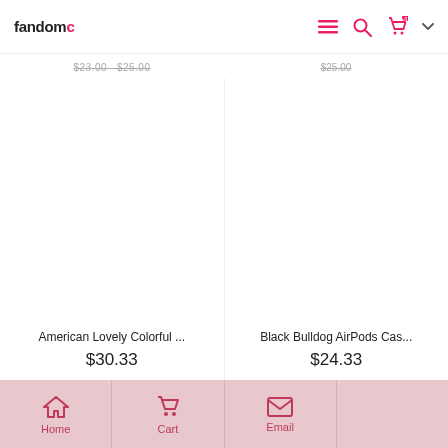fandomc — navigation header with menu, search, and cart icons
$23.00  $25.00    $25.00
American Lovely Colorful ...
$30.33
Black Bulldog AirPods Cas...
$24.33
Home  Cart  Email